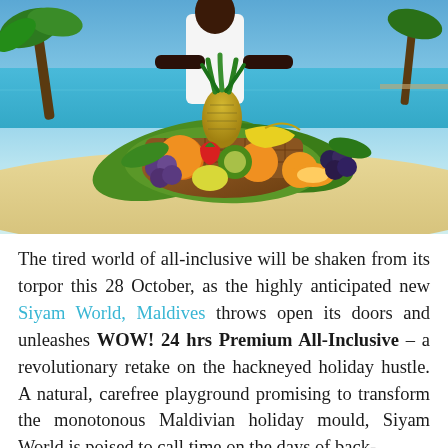[Figure (photo): A resort staff member in white clothing holding a large wicker basket overflowing with tropical fruits (pineapple, oranges, kiwi, grapes, bananas, strawberries, melon) and green banana leaves, standing on a sandy beach with turquoise ocean and palm trees in the background — Maldives resort setting.]
The tired world of all-inclusive will be shaken from its torpor this 28 October, as the highly anticipated new Siyam World, Maldives throws open its doors and unleashes WOW! 24 hrs Premium All-Inclusive – a revolutionary retake on the hackneyed holiday hustle. A natural, carefree playground promising to transform the monotonous Maldivian holiday mould, Siyam World is poised to call time on the days of back-